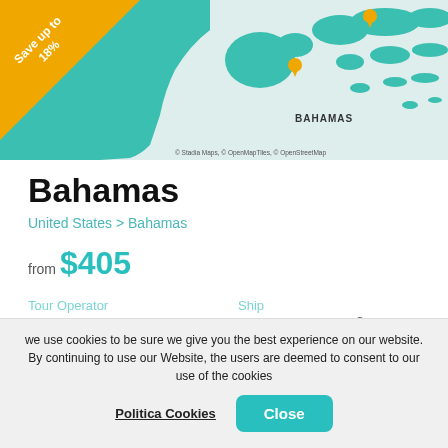[Figure (map): Map showing the Bahamas region with teal land masses on a light blue background. Orange pin markers visible. 'Save up to 18%' orange diagonal banner in top-left corner. Map attribution: © Stadia Maps, © OpenMapTiles, © OpenStreetMap. Label 'BAHAMAS' visible on map.]
Bahamas
United States > Bahamas
from $405
Tour Operator
Carnival Cruise Line
Ship
Carnival Elation ®
Depart from
Length
we use cookies to be sure we give you the best experience on our website. By continuing to use our Website, the users are deemed to consent to our use of the cookies